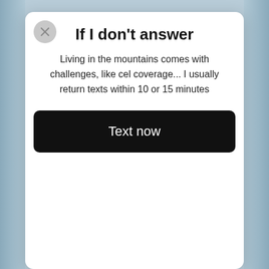If I don't answer
Living in the mountains comes with challenges, like cel coverage... I usually return texts within 10 or 15 minutes
Text now